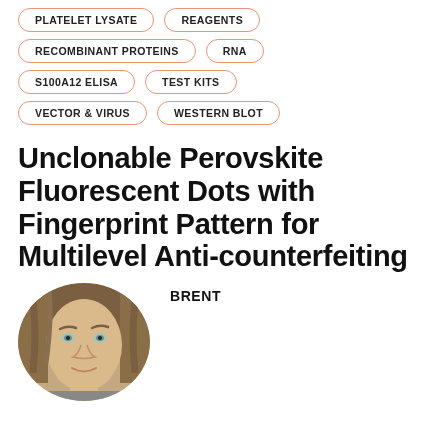PLATELET LYSATE
REAGENTS
RECOMBINANT PROTEINS
RNA
S100A12 ELISA
TEST KITS
VECTOR & VIRUS
WESTERN BLOT
Unclonable Perovskite Fluorescent Dots with Fingerprint Pattern for Multilevel Anti-counterfeiting
BRENT
[Figure (photo): Portrait photo of a young woman with brown hair, looking at the camera, circular crop]